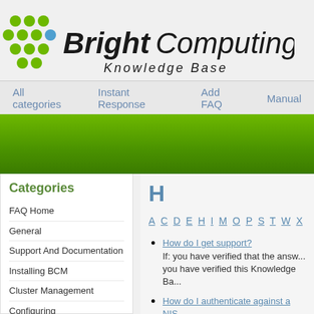[Figure (logo): Bright Computing Knowledge Base logo with green dot grid icon and italic/bold text]
All categories   Instant Response   Add FAQ   Manual
H
A C D E F G H I M O P S T W X
Categories
FAQ Home
General
Support And Documentation
Installing BCM
Cluster Management
Configuring
Power Management
How do I get support?
If: you have verified that the answer is not on this page, you have verified this Knowledge Ba...
How do I authenticate against a NIS...
See Robert Stober's howto for now.
How do I authenticate against an...